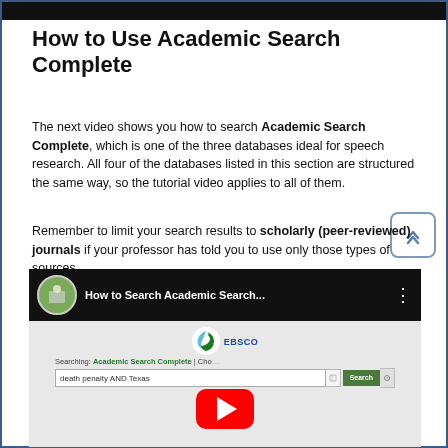How to Use Academic Search Complete
The next video shows you how to search Academic Search Complete, which is one of the three databases ideal for speech research. All four of the databases listed in this section are structured the same way, so the tutorial video applies to all of them.
Remember to limit your search results to scholarly (peer-reviewed) journals if your professor has told you to use only those types of sources.
[Figure (screenshot): Embedded YouTube video thumbnail showing 'How to Search Academic Search...' with EBSCO Academic Search Complete interface and a search for 'death penalty AND Texas', with a red YouTube play button overlay]